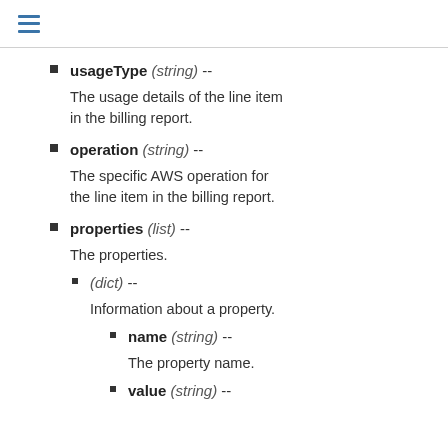≡
usageType (string) -- The usage details of the line item in the billing report.
operation (string) -- The specific AWS operation for the line item in the billing report.
properties (list) -- The properties.
(dict) -- Information about a property.
name (string) -- The property name.
value (string) --